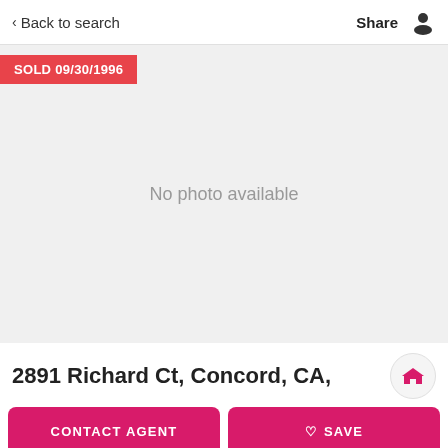Back to search | Share
[Figure (photo): Property listing image area showing 'No photo available' placeholder with a red SOLD badge reading 'SOLD 09/30/1996']
2891 Richard Ct, Concord, CA,
CONTACT AGENT
SAVE